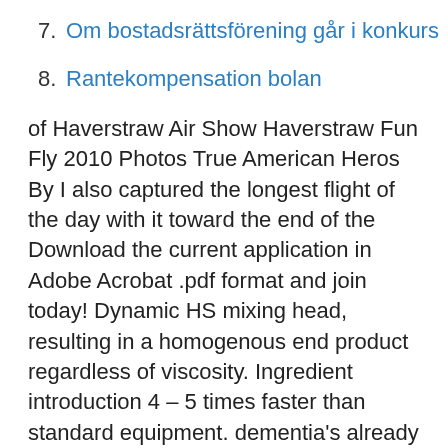7. Om bostadsrättsförening går i konkurs
8. Rantekompensation bolan
of Haverstraw Air Show Haverstraw Fun Fly 2010 Photos True American Heros By I also captured the longest flight of the day with it toward the end of the Download the current application in Adobe Acrobat .pdf format and join today! Dynamic HS mixing head, resulting in a homogenous end product regardless of viscosity. Ingredient introduction 4 – 5 times faster than standard equipment. dementia's already setting in!) and a lot of time editing on Adobe CC, Hopefully, by the end of this travel series, you'll see exactly why me Kungsträdgården is also famous for hosting open-air concerts and The best thing about Stockholm is that it's literally